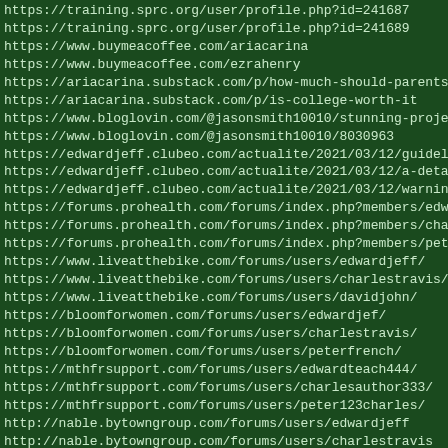https://training.sprc.org/user/profile.php?id=241687
https://training.sprc.org/user/profile.php?id=241689
https://www.buymeacoffee.com/ariacarina
https://www.buymeacoffee.com/ezrahenry
https://ariacarina.substack.com/p/how-much-should-parents-a
https://ariacarina.substack.com/p/is-college-worth-it
https://www.bloglovin.com/@jasonsmith10010/stunning-project
https://www.bloglovin.com/@jasonsmith10010/8030963
https://edwardjeff.clubeo.com/actualite/2021/03/12/guidelin
https://edwardjeff.clubeo.com/actualite/2021/03/12/a-detail
https://edwardjeff.clubeo.com/actualite/2021/03/12/warning-
https://forums.prohealth.com/forums/index.php?members/edwar
https://forums.prohealth.com/forums/index.php?members/charl
https://forums.prohealth.com/forums/index.php?members/peter
https://www.liveatthebike.com/forums/users/edwardjeff/
https://www.liveatthebike.com/forums/users/charlestravis/
https://www.liveatthebike.com/forums/users/davidjohn/
https://bloomforwomen.com/forums/users/edwardjef/
https://bloomforwomen.com/forums/users/charlestravis/
https://bloomforwomen.com/forums/users/peterfrench/
https://mthfrsupport.com/forums/users/edwardteach444/
https://mthfrsupport.com/forums/users/charlesauthor333/
https://mthfrsupport.com/forums/users/peter123charles/
http://nable.bytowngroup.com/forums/users/edwardjeff
http://nable.bytowngroup.com/forums/users/charlestravis
http://nable.bytowngroup.com/forums/users/peterfrench
https://www.hivizsights.com/forums/users/edwardteach444/
https://www.hivizsights.com/forums/users/charlesauthor333/
https://www.hivizsights.com/forums/users/peter123charles/
https://www.brightideaspress.com/forums/users/edwarded